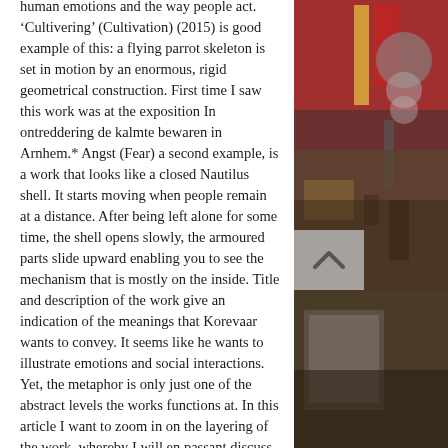human emotions and the way people act.  'Cultivering' (Cultivation) (2015) is good example of this: a flying parrot skeleton is set in motion by an enormous, rigid geometrical construction. First time I saw this work was at the exposition In ontreddering de kalmte bewaren in Arnhem.* Angst (Fear) a second example, is a work that looks like a closed Nautilus shell. It starts moving when people remain at a distance. After being left alone for some time, the shell opens slowly, the armoured parts slide upward enabling you to see the mechanism that is mostly on the inside. Title and description of the work give an indication of the meanings that Korevaar wants to convey. It seems like he wants to illustrate emotions and social interactions. Yet, the metaphor is only just one of the abstract levels the works functions at. In this article I want to zoom in on the layering of the work, whereby I will en passant discuss the history of kinetic works.
[Figure (photo): Right side of the page showing a photograph with reddish and dark tones, featuring what appears to be an art installation or workshop space. Upper portion has red/yellow artwork or structure visible; lower portion shows darker wooden or industrial elements. A gray scroll-to-top button with an upward chevron overlays the transition area.]